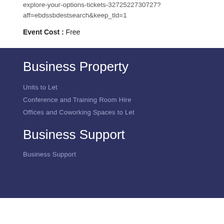explore-your-options-tickets-3272522730727?aff=ebdssbdestsearch&keep_tld=1
Event Cost : Free
Business Property
Units to Let
Conference and Training Room Hire
Offices and Coworking Spaces to Let
Business Support
Business Support